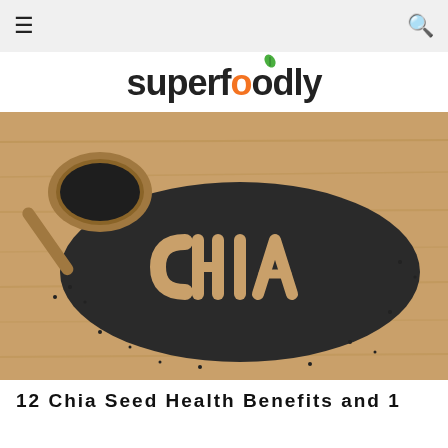≡  🔍
superfoodly
[Figure (photo): Chia seeds arranged on a wooden cutting board spelling out 'CHIA', with a wooden scoop filled with chia seeds in the upper left corner.]
12 Chia Seed Health Benefits and 1